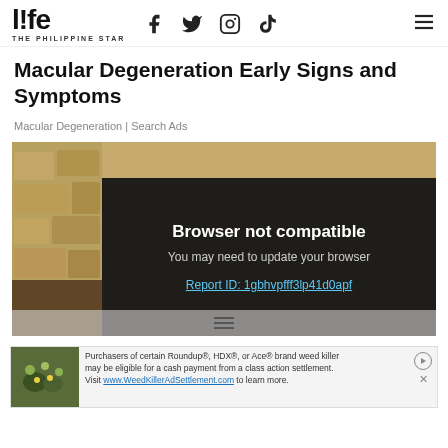l!fe THE PHILIPPINE STAR
Macular Degeneration Early Signs and Symptoms
Macular Degeneration | Search Ads
[Figure (screenshot): An image showing a stone wall background with a dark overlay box displaying 'Browser not compatible', 'You may need to update your browser', and a link 'Report ID: 1gbhvpfff3lp41d0apf']
[Figure (infographic): Advertisement banner: Purchasers of certain Roundup®, HDX®, or Ace® brand weed killer may be eligible for a cash payment from a class action settlement. Visit www.WeedKillerAdSettlement.com to learn more.]